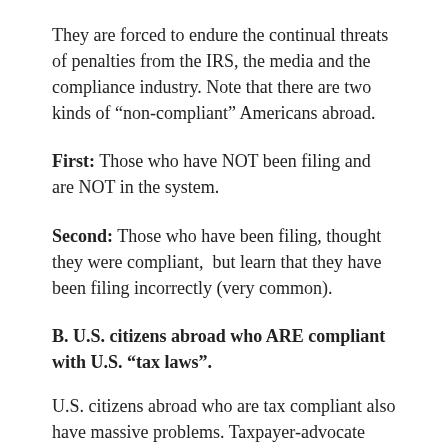They are forced to endure the continual threats of penalties from the IRS, the media and the compliance industry. Note that there are two kinds of “non-compliant” Americans abroad.
First: Those who have NOT been filing and are NOT in the system.
Second: Those who have been filing, thought they were compliant,  but learn that they have been filing incorrectly (very common).
B. U.S. citizens abroad who ARE compliant with U.S. “tax laws”.
U.S. citizens abroad who are tax compliant also have massive problems. Taxpayer-advocate reports that for U.S. Citizens Abroad, tax compliance is somewhere between difficult and